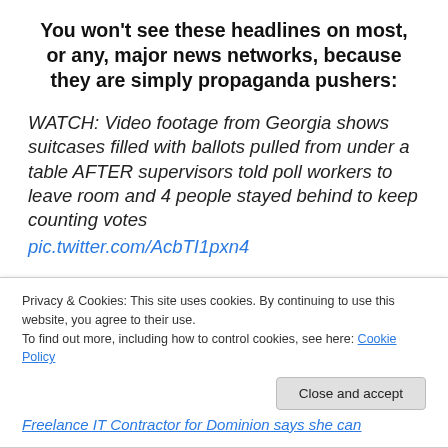You won't see these headlines on most, or any, major news networks, because they are simply propaganda pushers:
WATCH: Video footage from Georgia shows suitcases filled with ballots pulled from under a table AFTER supervisors told poll workers to leave room and 4 people stayed behind to keep counting votes pic.twitter.com/AcbTI1pxn4
— Team Trump (Text TRUMP to 88022) (@TeamTrump)
Privacy & Cookies: This site uses cookies. By continuing to use this website, you agree to their use.
To find out more, including how to control cookies, see here: Cookie Policy
Close and accept
Freelance IT Contractor for Dominion says she can